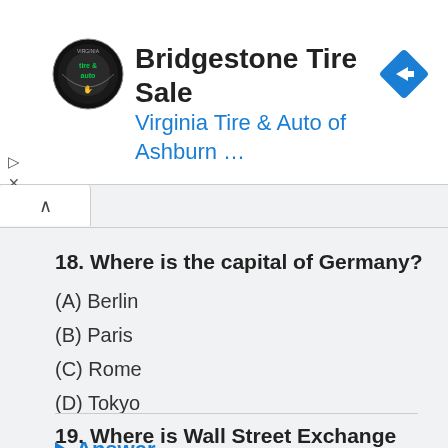[Figure (screenshot): Advertisement banner for Bridgestone Tire Sale by Virginia Tire & Auto of Ashburn with circular logo and blue diamond arrow icon]
18. Where is the capital of Germany?
(A) Berlin
(B) Paris
(C) Rome
(D) Tokyo
▶ Answer
19. Where is Wall Street Exchange